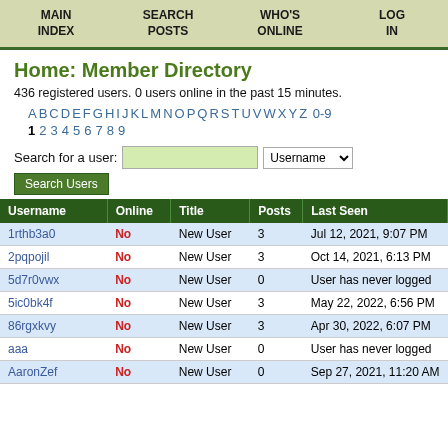MAIN INDEX | SEARCH POSTS | WHO'S ONLINE | LOG IN
Home: Member Directory
436 registered users. 0 users online in the past 15 minutes.
A B C D E F G H I J K L M N O P Q R S T U V W X Y Z 0-9
1 2 3 4 5 6 7 8 9
Search for a user: [input] [Username dropdown] Search Users
| Username | Online | Title | Posts | Last Seen |
| --- | --- | --- | --- | --- |
| 1rthb3a0 | No | New User | 3 | Jul 12, 2021, 9:07 PM |
| 2pqpojil | No | New User | 3 | Oct 14, 2021, 6:13 PM |
| 5d7r0vwx | No | New User | 0 | User has never logged |
| 5ic0bk4f | No | New User | 3 | May 22, 2022, 6:56 PM |
| 86rgxkvy | No | New User | 3 | Apr 30, 2022, 6:07 PM |
| aaa | No | New User | 0 | User has never logged |
| AaronZef | No | New User | 0 | Sep 27, 2021, 11:20 AM |